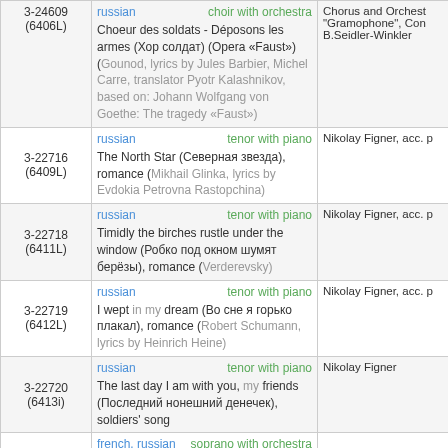| ID | Description | Performer |
| --- | --- | --- |
| 3-24609
(6406L) | russian | choir with orchestra
Choeur des soldats - Déposons les armes (Хор солдат) (Opera «Faust») (Gounod, lyrics by Jules Barbier, Michel Carre, translator Pyotr Kalashnikov, based on: Johann Wolfgang von Goethe: The tragedy «Faust») | Chorus and Orchestra "Gramophone", Cond. B.Seidler-Winkler |
| 3-22716
(6409L) | russian | tenor with piano
The North Star (Северная звезда), romance (Mikhail Glinka, lyrics by Evdokia Petrovna Rastopchina) | Nikolay Figner, acc. p |
| 3-22718
(6411L) | russian | tenor with piano
Timidly the birches rustle under the window (Робко под окном шумят берёзы), romance (Verderevsky) | Nikolay Figner, acc. p |
| 3-22719
(6412L) | russian | tenor with piano
I wept in my dream (Во сне я горько плакал), romance (Robert Schumann, lyrics by Heinrich Heine) | Nikolay Figner, acc. p |
| 3-22720
(6413i) | russian | tenor with piano
The last day I am with you, my friends (Последний нонешний денечек), soldiers' song | Nikolay Figner |
| 3-??? | french, russian | soprano with orchestra
Hélène's topsy-turvy couplets - Everybody says... |  |